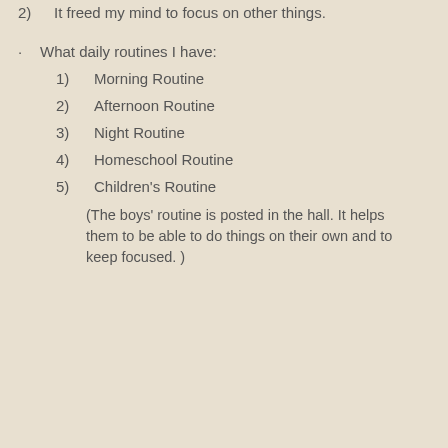2)  It freed my mind to focus on other things.
· What daily routines I have:
1) Morning Routine
2) Afternoon Routine
3) Night Routine
4) Homeschool Routine
5) Children's Routine
(The boys' routine is posted in the hall. It helps them to be able to do things on their own and to keep focused. )